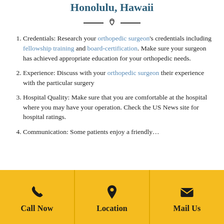Honolulu, Hawaii
Credentials: Research your orthopedic surgeon's credentials including fellowship training and board-certification. Make sure your surgeon has achieved appropriate education for your orthopedic needs.
Experience: Discuss with your orthopedic surgeon their experience with the particular surgery
Hospital Quality: Make sure that you are comfortable at the hospital where you may have your operation. Check the US News site for hospital ratings.
Communication: Some patients enjoy a friendly…
Call Now | Location | Mail Us